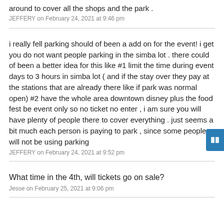around to cover all the shops and the park .
JEFFERY on February 24, 2021 at 9:46 pm
i really fell parking should of been a add on for the event! i get you do not want people parking in the simba lot . there could of been a better idea for this like #1 limit the time during event days to 3 hours in simba lot ( and if the stay over they pay at the stations that are already there like if park was normal open) #2 have the whole area downtown disney plus the food fest be event only so no ticket no enter , i am sure you will have plenty of people there to cover everything . just seems a bit much each person is paying to park , since some people will not be using parking
JEFFERY on February 24, 2021 at 9:52 pm
What time in the 4th, will tickets go on sale?
Jesse on February 25, 2021 at 9:06 pm